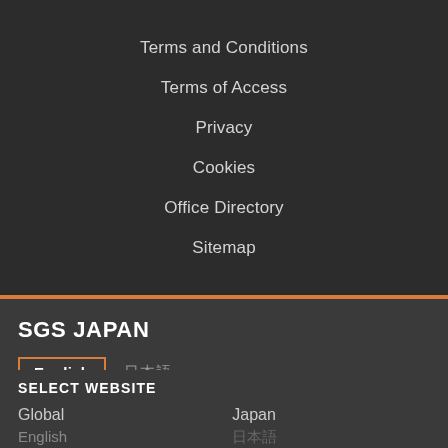Terms and Conditions
Terms of Access
Privacy
Cookies
Office Directory
Sitemap
SGS JAPAN
English  日本語
SELECT WEBSITE
Global   Japan
English  日本語